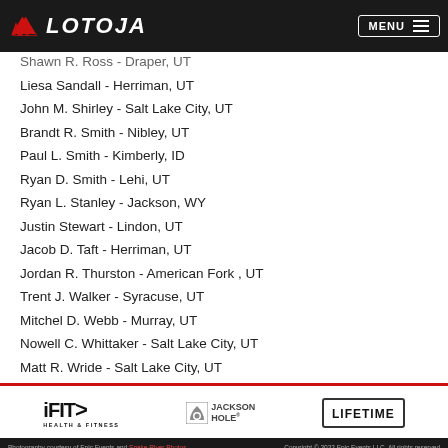LOTOJA - MENU
Shawn R. Ross - Draper, UT
Liesa Sandall - Herriman, UT
John M. Shirley - Salt Lake City, UT
Brandt R. Smith - Nibley, UT
Paul L. Smith - Kimberly, ID
Ryan D. Smith - Lehi, UT
Ryan L. Stanley - Jackson, WY
Justin Stewart - Lindon, UT
Jacob D. Taft - Herriman, UT
Jordan R. Thurston - American Fork , UT
Trent J. Walker - Syracuse, UT
Mitchel D. Webb - Murray, UT
Nowell C. Whittaker - Salt Lake City, UT
Matt R. Wride - Salt Lake City, UT
[Figure (logo): iFIT Health & Fitness logo, Jackson Hole logo, Lifetime logo]
Photography courtesy of Epic Events and Snake River Photos | Copyright © 2022 Epic Events LLC, All rights reserved